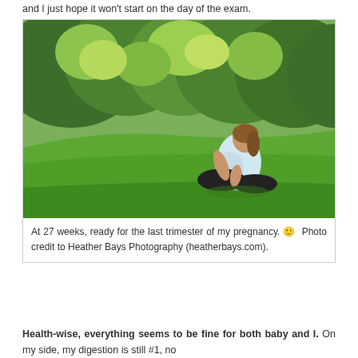and I just hope it won't start on the day of the exam.
[Figure (photo): Pregnant woman sitting cross-legged on a green grass lawn in front of lush green trees, wearing a light blue sleeveless top and black pants, at 27 weeks of pregnancy. Outdoor maternity photo.]
At 27 weeks, ready for the last trimester of my pregnancy. 🙂 Photo credit to Heather Bays Photography (heatherbays.com).
Health-wise, everything seems to be fine for both baby and I. On my side, my digestion is still #1, no